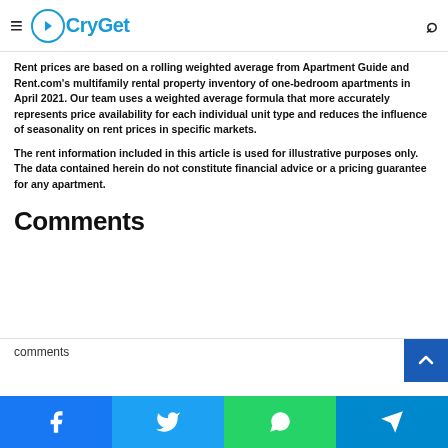CryGet — navigation bar with hamburger menu and search icon
small towns feel or just an easy commute, you can find the perfect of these Washington D.C. suburbs. Start your search today.
Rent prices are based on a rolling weighted average from Apartment Guide and Rent.com's multifamily rental property inventory of one-bedroom apartments in April 2021. Our team uses a weighted average formula that more accurately represents price availability for each individual unit type and reduces the influence of seasonality on rent prices in specific markets.
The rent information included in this article is used for illustrative purposes only. The data contained herein do not constitute financial advice or a pricing guarantee for any apartment.
Comments
comments
Social share bar: Facebook, Twitter, WhatsApp, Telegram